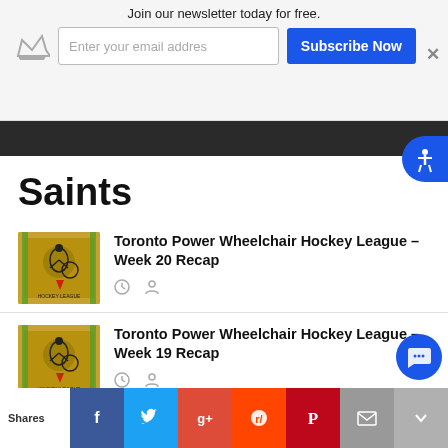Join our newsletter today for free.
Saints
Toronto Power Wheelchair Hockey League – Week 20 Recap
Toronto Power Wheelchair Hockey League – Week 19 Recap
Toronto Power Wheelchair Hockey L…
Shares